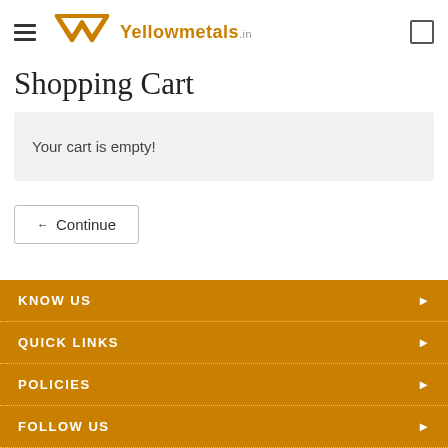Yellowmetals.in — Shopping Cart page header with hamburger menu and cart icon
Shopping Cart
Your cart is empty!
← Continue
KNOW US
QUICK LINKS
POLICIES
FOLLOW US